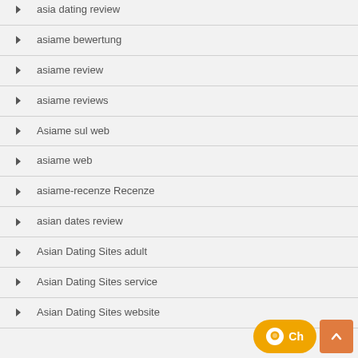asia dating review
asiame bewertung
asiame review
asiame reviews
Asiame sul web
asiame web
asiame-recenze Recenze
asian dates review
Asian Dating Sites adult
Asian Dating Sites service
Asian Dating Sites website